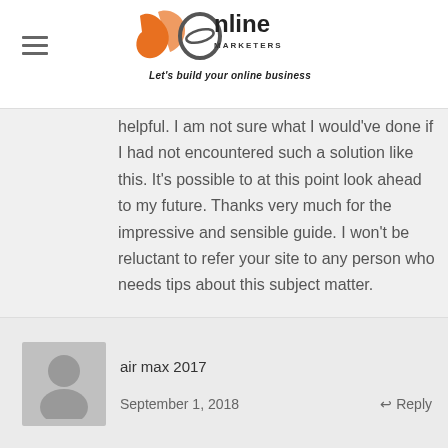[Figure (logo): JR Online Marketers logo with orange swish graphic, bold text 'Online Marketers', and tagline 'Let's build your online business']
helpful. I am not sure what I would've done if I had not encountered such a solution like this. It's possible to at this point look ahead to my future. Thanks very much for the impressive and sensible guide. I won't be reluctant to refer your site to any person who needs tips about this subject matter.
air max 2017
September 1, 2018